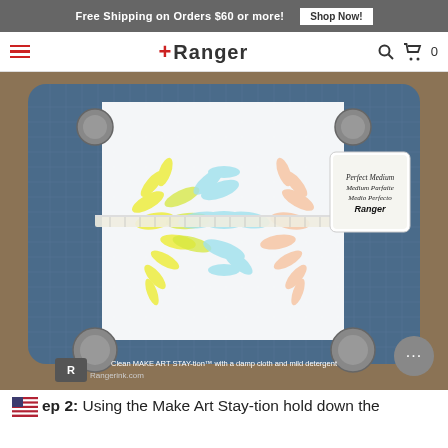Free Shipping on Orders $60 or more! Shop Now!
[Figure (logo): Ranger brand navigation bar with hamburger menu, Ranger logo with red plus sign, search icon, cart icon with 0]
[Figure (photo): Overhead photo of a Make Art Stay-tion crafting board with a stencil showing a rainbow flower burst pattern in yellow, green, blue, and orange/peach. A Perfect Medium ink pad is visible in the upper right. The board has magnetic corners and a grid pattern. Text at bottom reads 'Clean MAKE ART STAY-tion with a damp cloth and mild detergent'. Rangerink.com logo visible at bottom left. A chat button with '...' is in the bottom right corner.]
Step 2: Using the Make Art Stay-tion hold down the